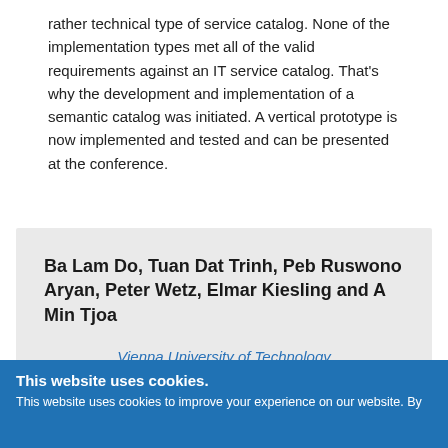rather technical type of service catalog. None of the implementation types met all of the valid requirements against an IT service catalog. That's why the development and implementation of a semantic catalog was initiated. A vertical prototype is now implemented and tested and can be presented at the conference.
Ba Lam Do, Tuan Dat Trinh, Peb Ruswono Aryan, Peter Wetz, Elmar Kiesling and A Min Tjoa
Vienna University of Technology
Toward a Statistical Data Integration
This website uses cookies.
This website uses cookies to improve your experience on our website. By